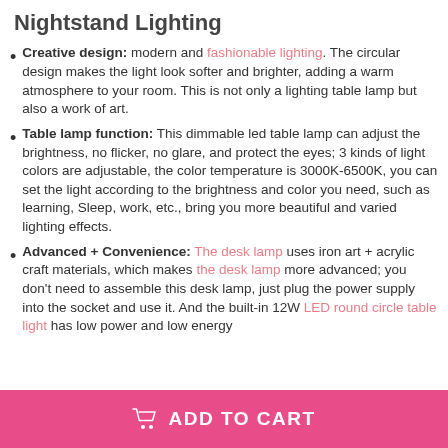Nightstand Lighting
Creative design: modern and fashionable lighting. The circular design makes the light look softer and brighter, adding a warm atmosphere to your room. This is not only a lighting table lamp but also a work of art.
Table lamp function: This dimmable led table lamp can adjust the brightness, no flicker, no glare, and protect the eyes; 3 kinds of light colors are adjustable, the color temperature is 3000K-6500K, you can set the light according to the brightness and color you need, such as learning, Sleep, work, etc., bring you more beautiful and varied lighting effects.
Advanced + Convenience: The desk lamp uses iron art + acrylic craft materials, which makes the desk lamp more advanced; you don't need to assemble this desk lamp, just plug the power supply into the socket and use it. And the built-in 12W LED round circle table light has low power and low energy
ADD TO CART